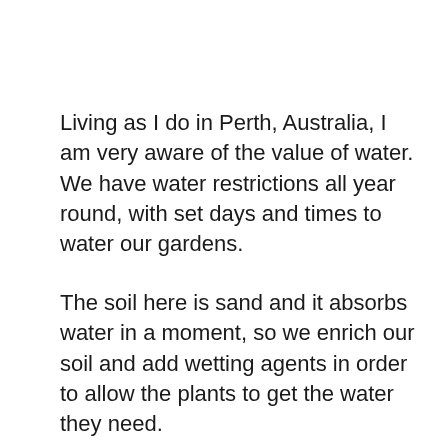Living as I do in Perth, Australia, I am very aware of the value of water. We have water restrictions all year round, with set days and times to water our gardens.
The soil here is sand and it absorbs water in a moment, so we enrich our soil and add wetting agents in order to allow the plants to get the water they need.
For water is crucial in a garden. Even succulents need water to survive. But the key is to water in the right way for the plant. Rosemary likes dry soil, and thrives in our Perth climate. Other plants need plenty or